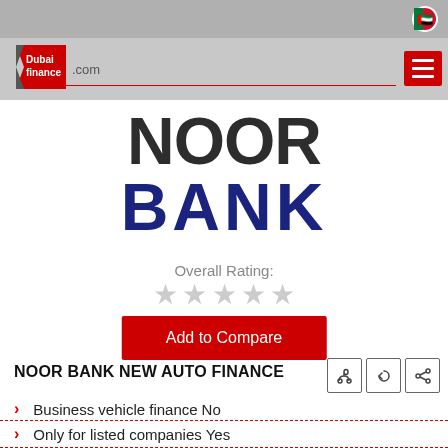Dubai finance .com
[Figure (logo): Noor Bank logo with NOOR in dark grey and BANK in dark blue]
Overall Rating:
★★★★★ (empty stars)
Add to Compare
NOOR BANK NEW AUTO FINANCE
Business vehicle finance No
Only for listed companies Yes